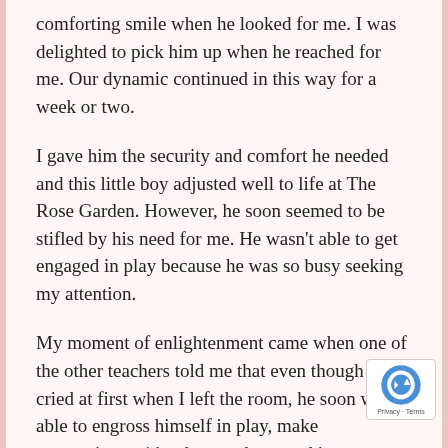comforting smile when he looked for me. I was delighted to pick him up when he reached for me. Our dynamic continued in this way for a week or two.
I gave him the security and comfort he needed and this little boy adjusted well to life at The Rose Garden. However, he soon seemed to be stifled by his need for me. He wasn't able to get engaged in play because he was so busy seeking my attention.
My moment of enlightenment came when one of the other teachers told me that even though he cried at first when I left the room, he soon was able to engross himself in play, make connections with other teachers, and interact with his peers. When I left, he mourned a moment, and then, free of me, he...